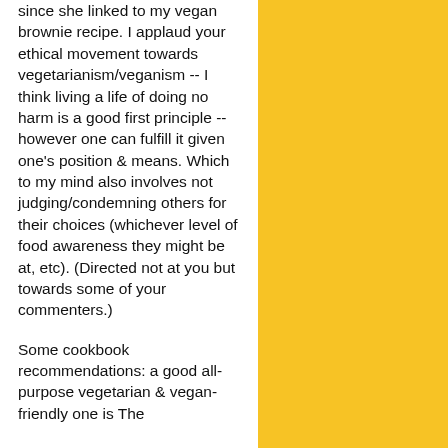since she linked to my vegan brownie recipe. I applaud your ethical movement towards vegetarianism/veganism -- I think living a life of doing no harm is a good first principle -- however one can fulfill it given one's position & means. Which to my mind also involves not judging/condemning others for their choices (whichever level of food awareness they might be at, etc). (Directed not at you but towards some of your commenters.)
Some cookbook recommendations: a good all-purpose vegetarian & vegan-friendly one is The